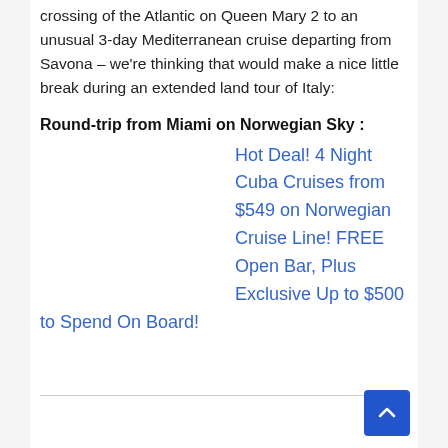crossing of the Atlantic on Queen Mary 2 to an unusual 3-day Mediterranean cruise departing from Savona – we're thinking that would make a nice little break during an extended land tour of Italy:
Round-trip from Miami on Norwegian Sky :
Hot Deal! 4 Night Cuba Cruises from $549 on Norwegian Cruise Line! FREE Open Bar, Plus Exclusive Up to $500 to Spend On Board!